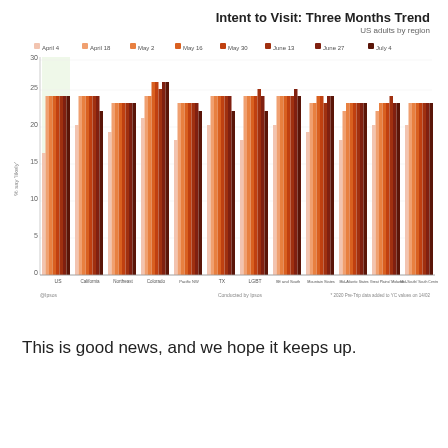[Figure (grouped-bar-chart): Intent to Visit: Three Months Trend]
This is good news, and we hope it keeps up.